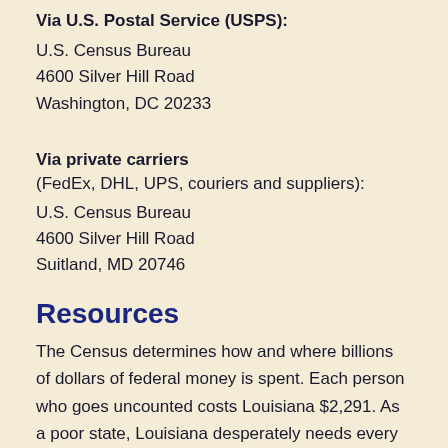Via U.S. Postal Service (USPS):
U.S. Census Bureau
4600 Silver Hill Road
Washington, DC 20233
Via private carriers
(FedEx, DHL, UPS, couriers and suppliers):
U.S. Census Bureau
4600 Silver Hill Road
Suitland, MD 20746
Resources
The Census determines how and where billions of dollars of federal money is spent. Each person who goes uncounted costs Louisiana $2,291. As a poor state, Louisiana desperately needs every dollar we can get.